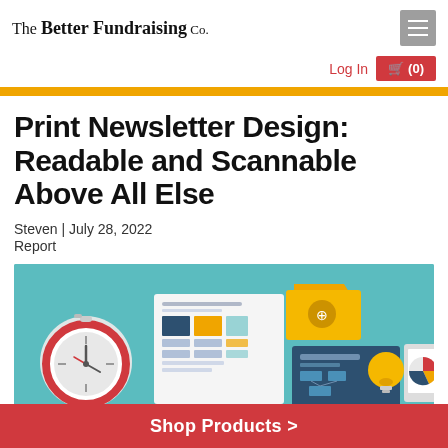The Better Fundraising Co.
Log In
🛒 (0)
Print Newsletter Design: Readable and Scannable Above All Else
Steven | July 28, 2022
Report
[Figure (illustration): Flat design illustration on teal background showing a stopwatch/clock, document/layout with colored blocks, a folder icon, a flowchart/org chart, a lightbulb, and a tablet with pie chart — representing design and productivity tools.]
Shop Products >